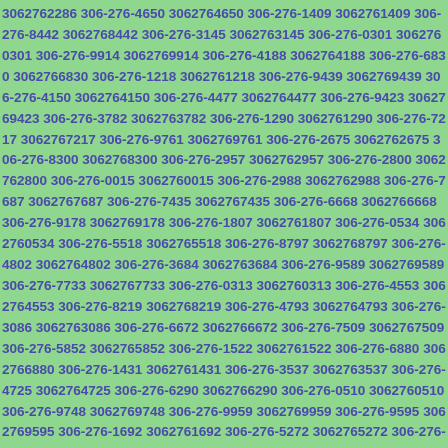3062762286 306-276-4650 3062764650 306-276-1409 3062761409 306-276-8442 3062768442 306-276-3145 3062763145 306-276-0301 3062760301 306-276-9914 3062769914 306-276-4188 3062764188 306-276-6830 3062766830 306-276-1218 3062761218 306-276-9439 3062769439 306-276-4150 3062764150 306-276-4477 3062764477 306-276-9423 3062769423 306-276-3782 3062763782 306-276-1290 3062761290 306-276-7217 3062767217 306-276-9761 3062769761 306-276-2675 3062762675 306-276-8300 3062768300 306-276-2957 3062762957 306-276-2800 3062762800 306-276-0015 3062760015 306-276-2988 3062762988 306-276-7687 3062767687 306-276-7435 3062767435 306-276-6668 3062766668 306-276-9178 3062769178 306-276-1807 3062761807 306-276-0534 3062760534 306-276-5518 3062765518 306-276-8797 3062768797 306-276-4802 3062764802 306-276-3684 3062763684 306-276-9589 3062769589 306-276-7733 3062767733 306-276-0313 3062760313 306-276-4553 3062764553 306-276-8219 3062768219 306-276-4793 3062764793 306-276-3086 3062763086 306-276-6672 3062766672 306-276-7509 3062767509 306-276-5852 3062765852 306-276-1522 3062761522 306-276-6880 3062766880 306-276-1431 3062761431 306-276-3537 3062763537 306-276-4725 3062764725 306-276-6290 3062766290 306-276-0510 3062760510 306-276-9748 3062769748 306-276-9959 3062769959 306-276-9595 3062769595 306-276-1692 3062761692 306-276-5272 3062765272 306-276-5609 3062765609 306-276-5129 3062765129 306-276-0727 3062760727 306-276-3303 3062763303 306-276-8430 3062768430 306-276-1732 3062761732 306-276-7890 3062767890